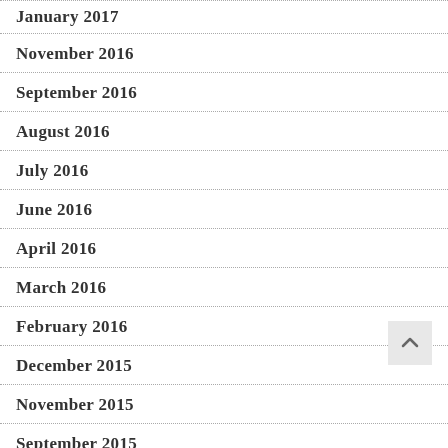January 2017
November 2016
September 2016
August 2016
July 2016
June 2016
April 2016
March 2016
February 2016
December 2015
November 2015
September 2015